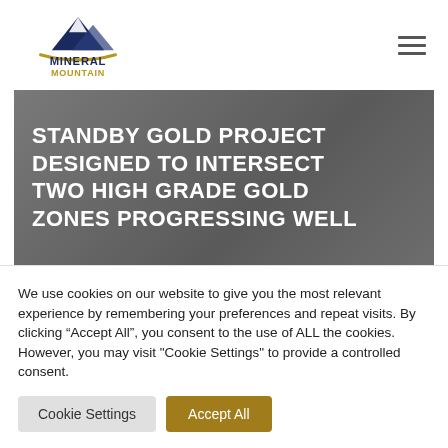[Figure (logo): Mineral Mountain logo with mountain illustration in navy blue and gold text reading MINERAL MOUNTAIN]
STANDBY GOLD PROJECT DESIGNED TO INTERSECT TWO HIGH GRADE GOLD ZONES PROGRESSING WELL
We use cookies on our website to give you the most relevant experience by remembering your preferences and repeat visits. By clicking “Accept All”, you consent to the use of ALL the cookies. However, you may visit "Cookie Settings" to provide a controlled consent.
Cookie Settings
Accept All